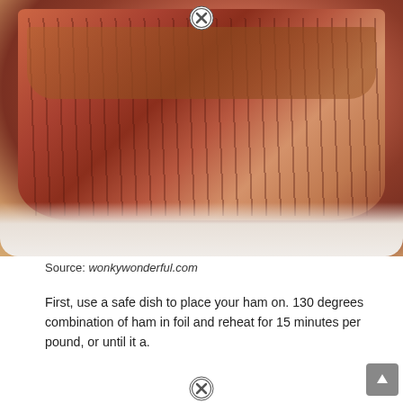[Figure (photo): Close-up photo of honey baked ham in a white baking dish, showing glazed, sliced meat with rich amber and red tones]
Source: wonkywonderful.com
First, use a safe dish to place your ham on. 130 degrees combination of ham in foil and reheat for 15 minutes per pound, or until it a.
[Figure (infographic): Promotional banner with brown/rust background reading: Honey Baked Ham — Dairy-Free Menu Guide — for their Stores & Cafes]